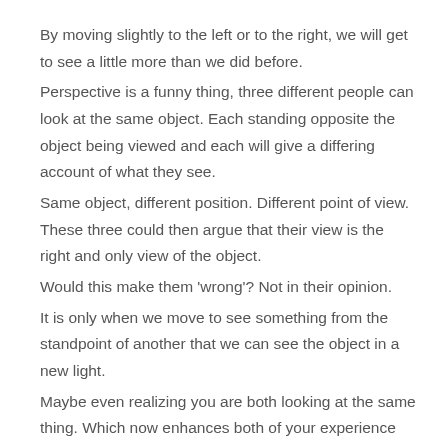By moving slightly to the left or to the right, we will get to see a little more than we did before. Perspective is a funny thing, three different people can look at the same object. Each standing opposite the object being viewed and each will give a differing account of what they see. Same object, different position. Different point of view. These three could then argue that their view is the right and only view of the object. Would this make them 'wrong'? Not in their opinion. It is only when we move to see something from the standpoint of another that we can see the object in a new light. Maybe even realizing you are both looking at the same thing. Which now enhances both of your experience and understanding.